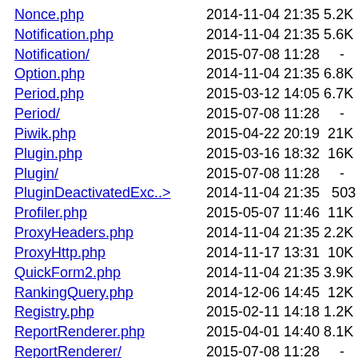Nonce.php  2014-11-04 21:35 5.2K
Notification.php  2014-11-04 21:35 5.6K
Notification/  2015-07-08 11:28  -
Option.php  2014-11-04 21:35 6.8K
Period.php  2015-03-12 14:05 6.7K
Period/  2015-07-08 11:28  -
Piwik.php  2015-04-22 20:19 21K
Plugin.php  2015-03-16 18:32 16K
Plugin/  2015-07-08 11:28  -
PluginDeactivatedExc..>  2014-11-04 21:35 503
Profiler.php  2015-05-07 11:46 11K
ProxyHeaders.php  2014-11-04 21:35 2.2K
ProxyHttp.php  2014-11-17 13:31 10K
QuickForm2.php  2014-11-04 21:35 3.9K
RankingQuery.php  2014-12-06 14:45 12K
Registry.php  2015-02-11 14:18 1.2K
ReportRenderer.php  2015-04-01 14:40 8.1K
ReportRenderer/  2015-07-08 11:28  -
ScheduledTask.php  2015-02-11 14:18 508
Scheduler/  2015-07-08 11:28  -
Segment.php  2015-04-01 14:49 8.6K